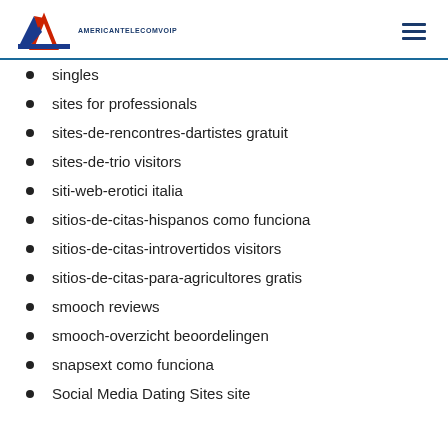AMERICANTELECOMVOIP
singles
sites for professionals
sites-de-rencontres-dartistes gratuit
sites-de-trio visitors
siti-web-erotici italia
sitios-de-citas-hispanos como funciona
sitios-de-citas-introvertidos visitors
sitios-de-citas-para-agricultores gratis
smooch reviews
smooch-overzicht beoordelingen
snapsext como funciona
Social Media Dating Sites site